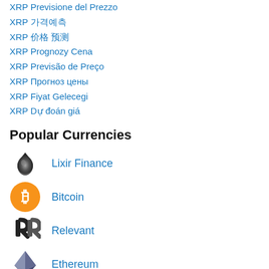XRP Previsione del Prezzo
XRP 가격 예측
XRP 가격 예측
XRP Prognozy Cena
XRP Previsão de Preço
XRP Прогноз цены
XRP Fiyat Gelecegi
XRP Dự đoán giá
Popular Currencies
Lixir Finance
Bitcoin
Relevant
Ethereum
Tether